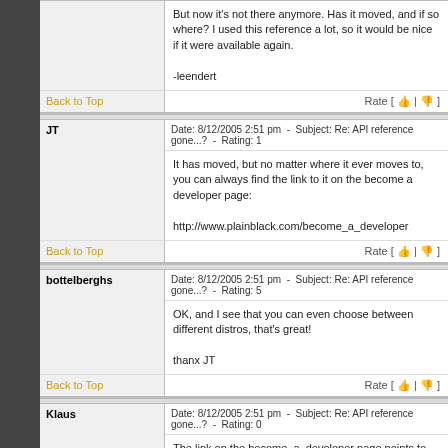But now it's not there anymore. Has it moved, and if so where? I used this reference a lot, so it would be nice if it were available again.

-leendert
Back to Top
Rate [ 👍 | 👎 ]
JT
Date: 8/12/2005 2:51 pm  -  Subject: Re: API reference gone...?  -  Rating: 1
It has moved, but no matter where it ever moves to, you can always find the link to it on the become a developer page:

http://www.plainblack.com/become_a_developer
Back to Top
Rate [ 👍 | 👎 ]
bottelberghs
Date: 8/12/2005 2:51 pm  -  Subject: Re: API reference gone...?  -  Rating: 5
OK, and I see that you can even choose between different distros, that's great!

thanx JT
Back to Top
Rate [ 👍 | 👎 ]
Klaus
Date: 8/12/2005 2:51 pm  -  Subject: Re: API reference gone...?  -  Rating: 0
The link on the become_a_developer page points to the API for the actual version 6.1.1 - but the files are missing.